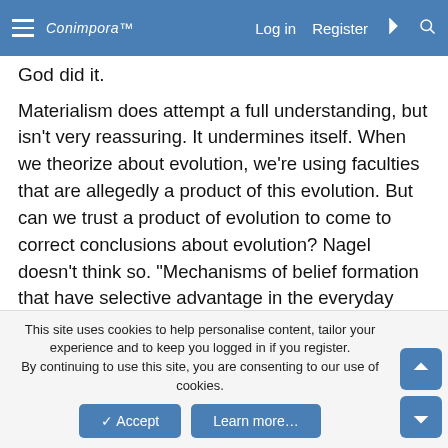Conimpora™   Log in   Register
God did it.
Materialism does attempt a full understanding, but isn't very reassuring. It undermines itself. When we theorize about evolution, we're using faculties that are allegedly a product of this evolution. But can we trust a product of evolution to come to correct conclusions about evolution? Nagel doesn't think so. "Mechanisms of belief formation that have selective advantage in the everyday struggle for existence do not warrant our confidence in the construction of theoretical accounts of the world as a whole." Just like vision, which we trust, but know could be faulty, our cognitive faculties could be reliable, but not in the sense in which we usually take them to be reliable - as in science in
This site uses cookies to help personalise content, tailor your experience and to keep you logged in if you register.
By continuing to use this site, you are consenting to our use of cookies.
✓ Accept
Learn more…